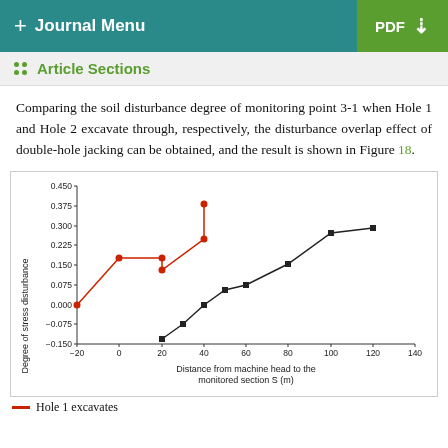+ Journal Menu | PDF ↓
Article Sections
Comparing the soil disturbance degree of monitoring point 3-1 when Hole 1 and Hole 2 excavate through, respectively, the disturbance overlap effect of double-hole jacking can be obtained, and the result is shown in Figure 18.
[Figure (line-chart): ]